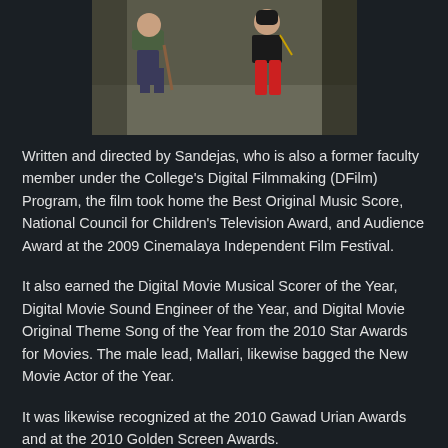[Figure (photo): Two people in a scene, one seated wearing a green jacket holding a stick, another in a black shirt and red pants, appearing to be from a film production.]
Written and directed by Sandejas, who is also a former faculty member under the College's Digital Filmmaking (DFilm) Program, the film took home the Best Original Music Score, National Council for Children's Television Award, and Audience Award at the 2009 Cinemalaya Independent Film Festival.
It also earned the Digital Movie Musical Scorer of the Year, Digital Movie Sound Engineer of the Year, and Digital Movie Original Theme Song of the Year from the 2010 Star Awards for Movies. The male lead, Mallari, likewise bagged the New Movie Actor of the Year.
It was likewise recognized at the 2010 Gawad Urian Awards and at the 2010 Golden Screen Awards.